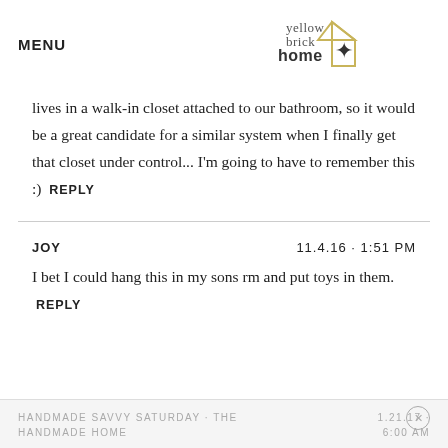MENU | yellow brick home (logo)
lives in a walk-in closet attached to our bathroom, so it would be a great candidate for a similar system when I finally get that closet under control... I'm going to have to remember this :)  REPLY
JOY  11.4.16 · 1:51 PM
I bet I could hang this in my sons rm and put toys in them.  REPLY
HANDMADE SAVVY SATURDAY · THE HANDMADE HOME  1.21.17 · 6:00 AM